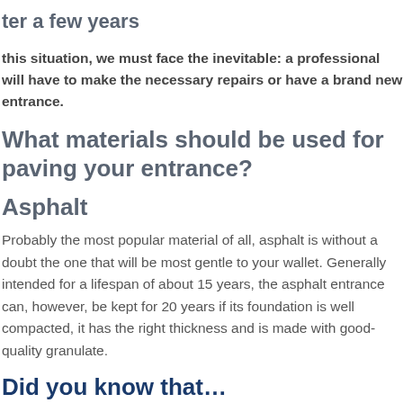ter a few years
this situation, we must face the inevitable: a professional will have to make the necessary repairs or have a brand new entrance.
What materials should be used for paving your entrance?
Asphalt
Probably the most popular material of all, asphalt is without a doubt the one that will be most gentle to your wallet. Generally intended for a lifespan of about 15 years, the asphalt entrance can, however, be kept for 20 years if its foundation is well compacted, it has the right thickness and is made with good-quality granulate.
Did you know that...
s good to note that resurfacing a driveway is not always